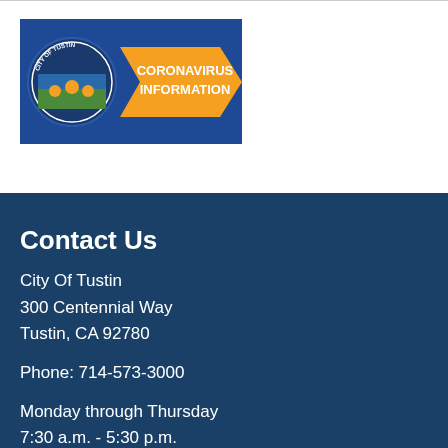[Figure (logo): City of Tustin Coronavirus Information banner with orange arrow graphic and city seal logo on blue background]
Contact Us
City Of Tustin
300 Centennial Way
Tustin, CA 92780
Phone: 714-573-3000
Monday through Thursday
7:30 a.m. - 5:30 p.m.